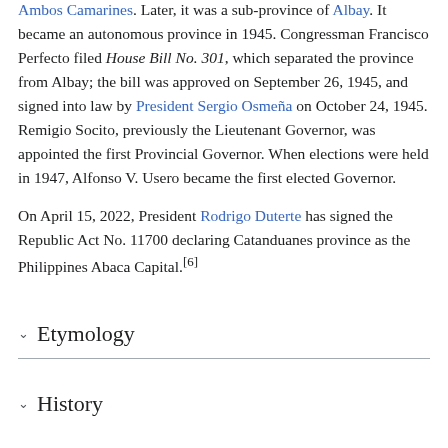Ambos Camarines. Later, it was a sub-province of Albay. It became an autonomous province in 1945. Congressman Francisco Perfecto filed House Bill No. 301, which separated the province from Albay; the bill was approved on September 26, 1945, and signed into law by President Sergio Osmeña on October 24, 1945. Remigio Socito, previously the Lieutenant Governor, was appointed the first Provincial Governor. When elections were held in 1947, Alfonso V. Usero became the first elected Governor.
On April 15, 2022, President Rodrigo Duterte has signed the Republic Act No. 11700 declaring Catanduanes province as the Philippines Abaca Capital.[6]
Etymology
History